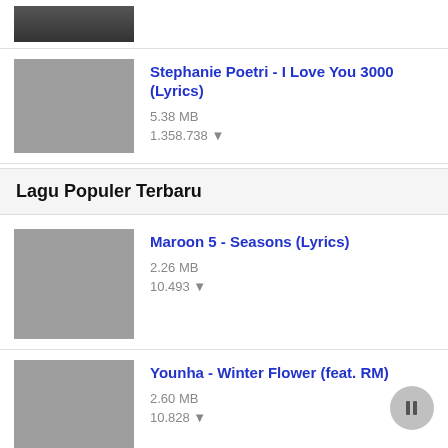[Figure (photo): Thumbnail image of a city at night (partial, cropped at top)]
[Figure (photo): Gray thumbnail placeholder]
Stephanie Poetri - I Love You 3000 (Lyrics)
5.38 MB
1.358.738
Lagu Populer Terbaru
[Figure (photo): Gray thumbnail placeholder]
Maroon 5 - Seasons (Lyrics)
2.26 MB
10.493
[Figure (photo): Gray thumbnail placeholder]
Younha - Winter Flower (feat. RM)
2.60 MB
10.828
[Figure (photo): Gray thumbnail placeholder]
Justin Bieber - Anyone
4.13 MB
10.175